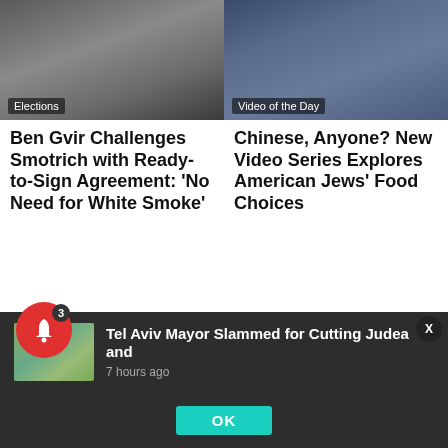[Figure (photo): Group of people - Elections photo]
[Figure (photo): Man with mouth open - Video of the Day photo]
Ben Gvir Challenges Smotrich with Ready-to-Sign Agreement: ‘No Need for White Smoke’
Chinese, Anyone? New Video Series Explores American Jews’ Food Choices
[Figure (photo): People digging - lower left photo]
[Figure (photo): Person in orange vest - lower right photo]
We use cookies to ensure that we give you the best experience on our website. If yo
[Figure (photo): Notification thumbnail - animated figure on green]
Tel Aviv Mayor Slammed for Cutting Judea and
7 hours ago